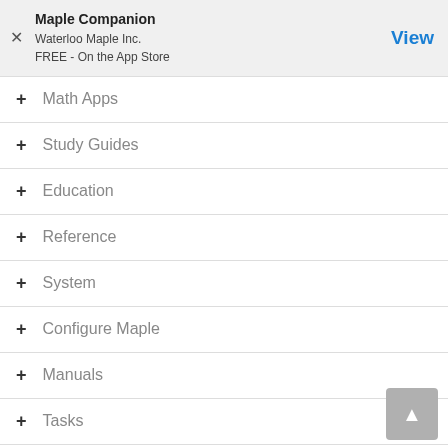Maple Companion
Waterloo Maple Inc.
FREE - On the App Store
Math Apps
Study Guides
Education
Reference
System
Configure Maple
Manuals
Tasks
Toolboxes